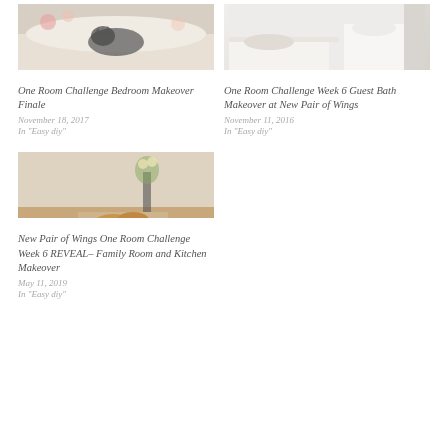[Figure (photo): Cat sleeping on floral bedding]
One Room Challenge Bedroom Makeover Finale
November 18, 2017
In "Easy diy"
[Figure (photo): White bathroom with toilet and bathtub]
One Room Challenge Week 6 Guest Bath Makeover at New Pair of Wings
November 11, 2016
In "Easy diy"
[Figure (photo): Table with croissants, strawberries, and flowers]
New Pair of Wings One Room Challenge Week 6 REVEAL- Family Room and Kitchen Makeover
May 11, 2019
In "Easy diy"